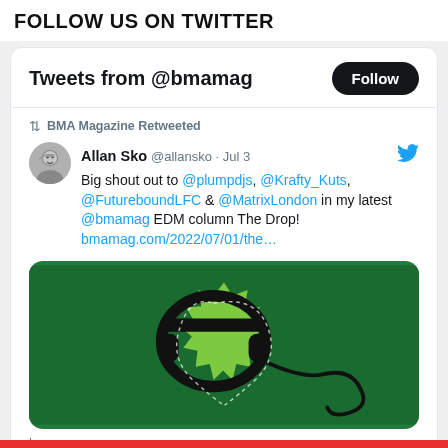FOLLOW US ON TWITTER
Tweets from @bmamag
BMA Magazine Retweeted
Allan Sko @allansko · Jul 3
Big shout out to @plumpdjs, @Krafty_Kuts, @FutureboundLFC & @MatrixLondon in my latest @bmamag EDM column The Drop! bmamag.com/2022/07/01/the…
[Figure (illustration): Green background with black headphones illustration and light green starburst shape with dotted border outline of headphone cord in heart shape]
bmamag.com